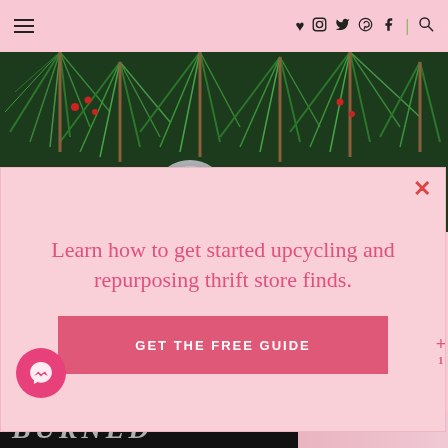Navigation bar with hamburger menu, social icons (heart, instagram, twitter, pinterest, facebook), separator, and search icon
[Figure (photo): Pine tree branches with green needles and a silver/glittery decoration, close-up holiday photo]
Learn how to get started upcycling and repurposing thrift store finds.
GET THE FREE GUIDE
[Figure (photo): Bottom strip showing partial text 'BURNED' in dark background and a pink/skin-toned partial image on the right]